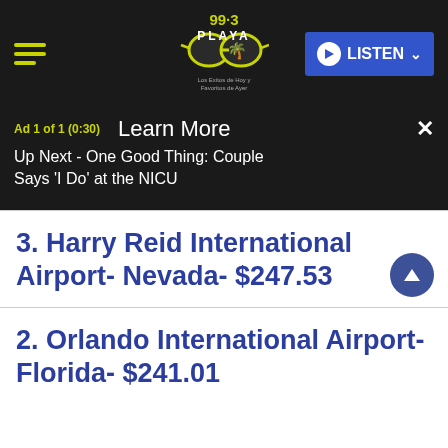[Figure (logo): 99.3 Playa radio station logo with sunglasses and palm tree, tagline: Los Exitos de Hoy y Favoritos de Ayer]
Ad 1 of 1 (0:30)
Learn More
Up Next - One Good Thing: Couple Says 'I Do' at the NICU
3. Harry Reid International Airport- Nevada- $247.53
2. Orlando International Airport- Florida- $241.01